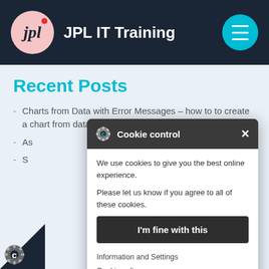[Figure (logo): JPL IT Training logo with pink circle containing 'jpl' text and red dot, white site title, and cyan hamburger menu button on dark navy header]
Recent Posts
Charts from Data with Error Messages – how to to create a chart from data that has error m[essages]
As[sistance with ...] in Excel, Word and Po[werPoint]
S[ome content about] Excel 365 course co[ntent]
[Figure (screenshot): Cookie control popup dialog with dark header showing gear/cookie icon and title 'Cookie control', close X button, white body with text 'We use cookies to give you the best online experience. Please let us know if you agree to all of these cookies.', a dark 'I'm fine with this' button, and links for 'Information and Settings' and 'Cookie policy']